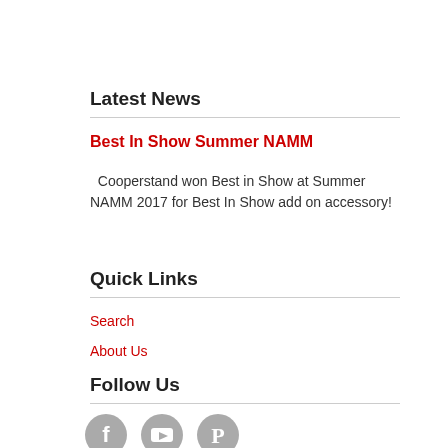Latest News
Best In Show Summer NAMM
Cooperstand won Best in Show at Summer NAMM 2017 for Best In Show add on accessory!
Quick Links
Search
About Us
Follow Us
[Figure (illustration): Social media icons: Facebook, YouTube, Pinterest]